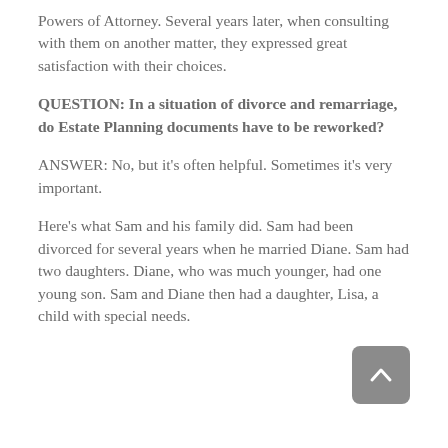Powers of Attorney. Several years later, when consulting with them on another matter, they expressed great satisfaction with their choices.
QUESTION:  In a situation of divorce and remarriage, do Estate Planning documents have to be reworked?
ANSWER:  No, but it's often helpful. Sometimes it's very important.
Here's what Sam and his family did. Sam had been divorced for several years when he married Diane. Sam had two daughters. Diane, who was much younger, had one young son. Sam and Diane then had a daughter, Lisa, a child with special needs.